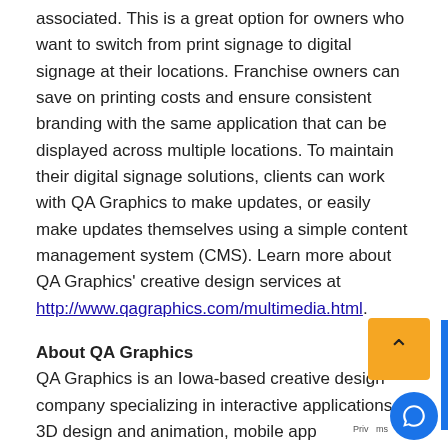associated. This is a great option for owners who want to switch from print signage to digital signage at their locations. Franchise owners can save on printing costs and ensure consistent branding with the same application that can be displayed across multiple locations. To maintain their digital signage solutions, clients can work with QA Graphics to make updates, or easily make updates themselves using a simple content management system (CMS). Learn more about QA Graphics' creative design services at http://www.qagraphics.com/multimedia.html.
About QA Graphics
QA Graphics is an Iowa-based creative design company specializing in interactive applications, 3D design and animation, mobile app development and other multimedia. The company is also a leader in the building automa... and green building industries, providing HVAC graphi... development services and energy dashboards to hel... organizations educate occupants about building